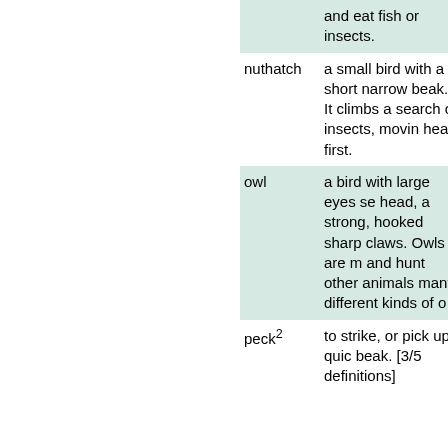| Term | Definition |
| --- | --- |
|  | and eat fish or insects. |
| nuthatch | a small bird with a short narrow beak. It climbs and search of insects, moving head first. |
| owl | a bird with large eyes set head, a strong, hooked sharp claws. Owls are m and hunt other animals many different kinds of o |
| peck² | to strike, or pick up quic beak. [3/5 definitions] |